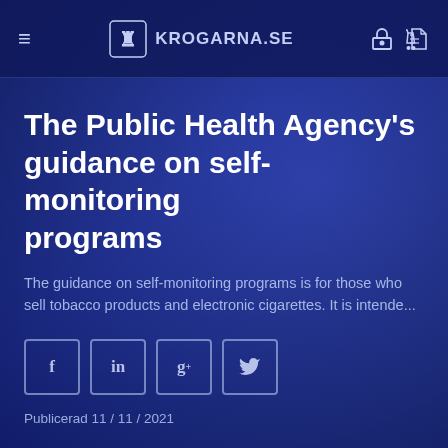KROGARNA.SE
The Public Health Agency's guidance on self-monitoring programs
The guidance on self-monitoring programs is for those who sell tobacco products and electronic cigarettes. It is intende...
Publicerad 11 / 11 / 2021